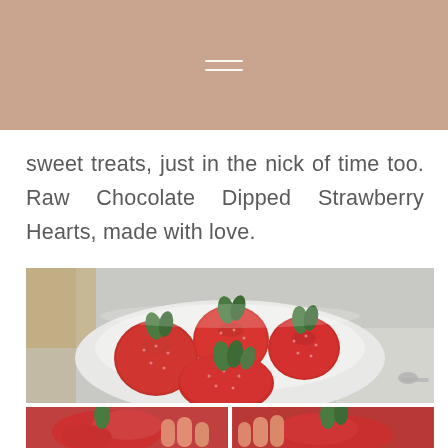sweet treats, just in the nick of time too. Raw Chocolate Dipped Strawberry Hearts, made with love.
[Figure (photo): A white bowl filled with fresh red strawberries with green leaves, photographed from above on a gray surface with a spoon visible at the right edge.]
[Figure (photo): Two side-by-side photos showing hands holding or preparing strawberries.]